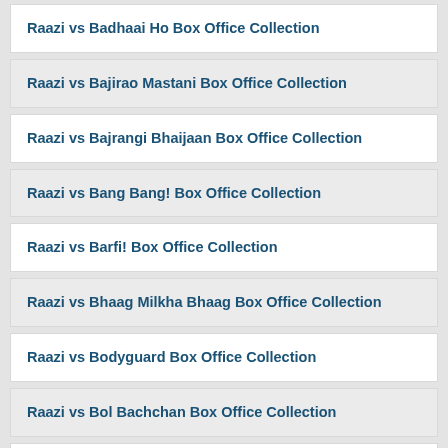Raazi vs Badhaai Ho Box Office Collection
Raazi vs Bajirao Mastani Box Office Collection
Raazi vs Bajrangi Bhaijaan Box Office Collection
Raazi vs Bang Bang! Box Office Collection
Raazi vs Barfi! Box Office Collection
Raazi vs Bhaag Milkha Bhaag Box Office Collection
Raazi vs Bodyguard Box Office Collection
Raazi vs Bol Bachchan Box Office Collection
Raazi vs Chennai Express Box Office Collection
Raazi vs Dabangg 2 Box Office Collection